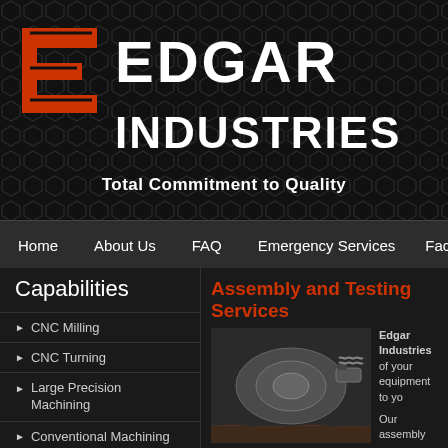[Figure (logo): Edgar Industries logo with orange geometric E symbol and white company name on dark hexagonal pattern background with tagline 'Total Commitment to Quality']
Home  About Us  FAQ  Emergency Services  Faciliti
Capabilities
CNC Milling
CNC Turning
Large Precision Machining
Conventional Machining
Waterjet Cutting Services
Light to Heavy Precision Fabrication
Equipment Rebuild
Assembly and Testing Services
[Figure (photo): Close-up photo of industrial pump or motor assembly, metallic components visible]
Edgar Industries of your equipment to yo
Our assembly exper can and have run co gives you the peace
Edgar Industries car available for liquid pe
Click here to view ou
[Figure (photo): Photo of industrial facility or workshop environment with workers]